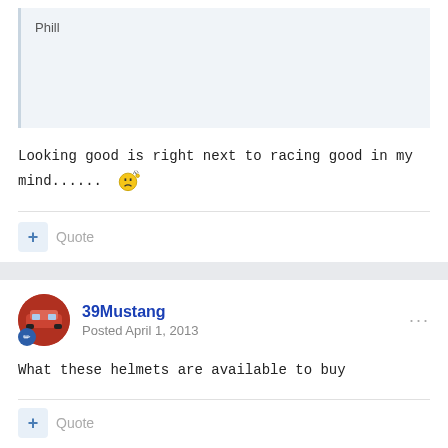Phill
Looking good is right next to racing good in my mind......
Quote
39Mustang
Posted April 1, 2013
What these helmets are available to buy
Quote